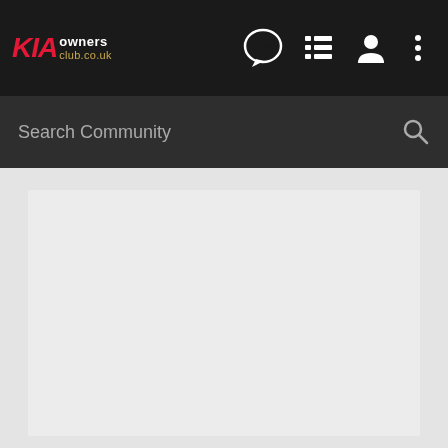[Figure (screenshot): KIA Owners Club navigation bar with logo, NEW chat bubble icon, list icon, user icon, and more options icon]
Search Community
[Figure (screenshot): Light grey content area below the search bar, partially showing a white/light card region]